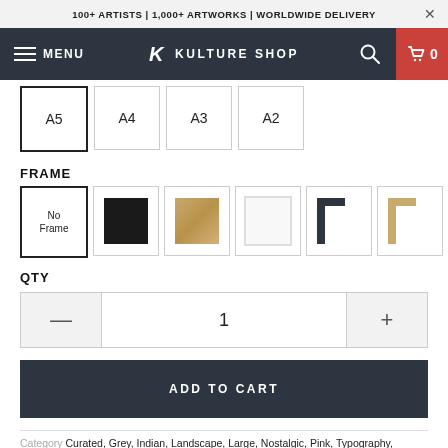100+ ARTISTS | 1,000+ ARTWORKS | WORLDWIDE DELIVERY
[Figure (screenshot): Kulture Shop navigation bar with hamburger menu, logo, search icon, and cart showing 0 items]
A5 (selected), A4, A3, A2 - size selector buttons
FRAME
Frame options: No Frame (selected), Black, Oak, White, Black+White corner, Oak corner, White corner
QTY
Quantity selector showing 1 with minus and plus buttons
ADD TO CART
Category: Curated, Grey, Indian, Landscape, Large, Nostalgic, Pink, Typography, Universal, Vintage-Retro, Witty, Words & Quotes